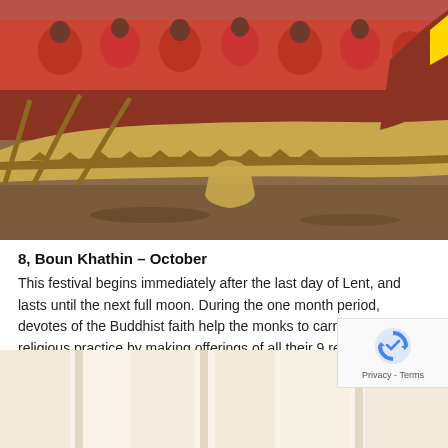[Figure (photo): People wearing red shirts rowing a traditional long boat on a river during a festival. The boat is golden/wooden and people are using long wooden oars. Water splashes around the oars.]
8, Boun Khathin – October
This festival begins immediately after the last day of Lent, and lasts until the next full moon. During the one month period, devotes of the Buddhist faith help the monks to carry out their religious practice by making offerings of all their 9 requisites and other useful items.
[Figure (photo): Partially visible image at the bottom of the page, showing light-colored fabric or curtains, partially obscured by a reCAPTCHA badge.]